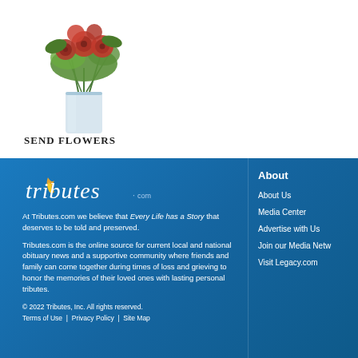[Figure (photo): Floral arrangement in a glass vase with red and green flowers]
Send Flowers
[Figure (logo): tributes.com logo with flame icon]
At Tributes.com we believe that Every Life has a Story that deserves to be told and preserved.
Tributes.com is the online source for current local and national obituary news and a supportive community where friends and family can come together during times of loss and grieving to honor the memories of their loved ones with lasting personal tributes.
© 2022 Tributes, Inc. All rights reserved.
Terms of Use  |  Privacy Policy  |  Site Map
About
About Us
Media Center
Advertise with Us
Join our Media Netw…
Visit Legacy.com